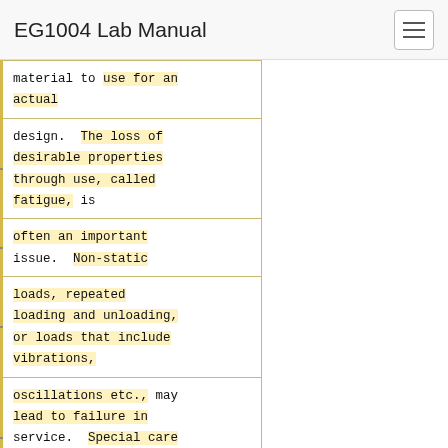EG1004 Lab Manual
material to use for an actual
design.  The loss of desirable properties through use, called fatigue, is
often an important issue.  Non-static
loads, repeated loading and unloading, or loads that include vibrations,
oscillations etc., may lead to failure in service.  Special care must be taken with live loads